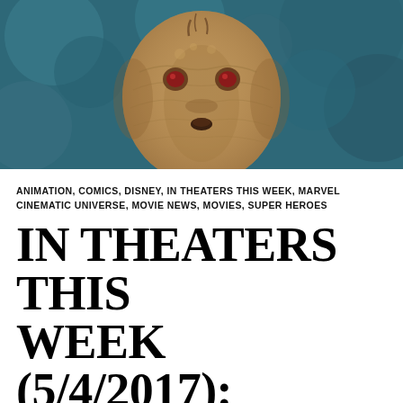[Figure (photo): Close-up photo of Baby Groot character from Guardians of the Galaxy, with a wooden textured round head, small dark eyes, and open mouth, set against a blurred teal/blue bokeh background.]
ANIMATION, COMICS, DISNEY, IN THEATERS THIS WEEK, MARVEL CINEMATIC UNIVERSE, MOVIE NEWS, MOVIES, SUPER HEROES
IN THEATERS THIS WEEK (5/4/2017): GUARDIANS OF THE GALAXY VOL. 2